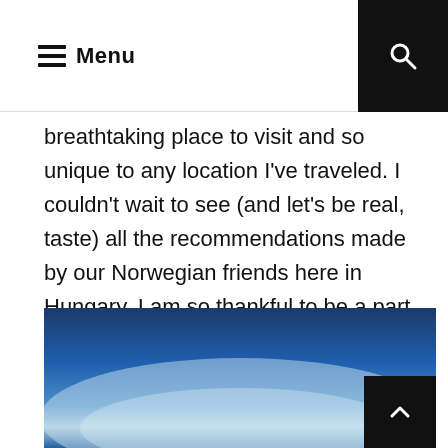Menu
breathtaking place to visit and so unique to any location I've traveled. I couldn't wait to see (and let's be real, taste) all the recommendations made by our Norwegian friends here in Hungary. I am so thankful to be a part of such a diverse and friendly international community.
[Figure (photo): A blue sky photograph showing a gradient from dark blue at the top and edges to a lighter pale blue-white in the center, suggesting a clear sky viewed from below.]